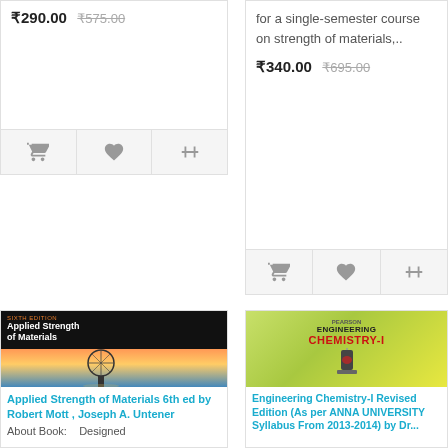₹290.00  ₹575.00
[Figure (other): Action buttons row: shopping cart, heart/wishlist, compare icons]
for a single-semester course on strength of materials,..
₹340.00  ₹695.00
[Figure (other): Action buttons row: shopping cart, heart/wishlist, compare icons]
[Figure (photo): Book cover: Applied Strength of Materials Sixth Edition by Robert L. Mott, Joseph A. Untener — black top with title, bottom half shows London Eye ferris wheel at sunset reflected in water]
Applied Strength of Materials 6th ed by Robert Mott , Joseph A. Untener
About Book:    Designed
[Figure (photo): Book cover: Engineering Chemistry-I Revised Edition, green background with red CHEMISTRY-I text, shows laboratory apparatus]
Engineering Chemistry-I Revised Edition (As per ANNA UNIVERSITY Syllabus From 2013-2014) by Dr...